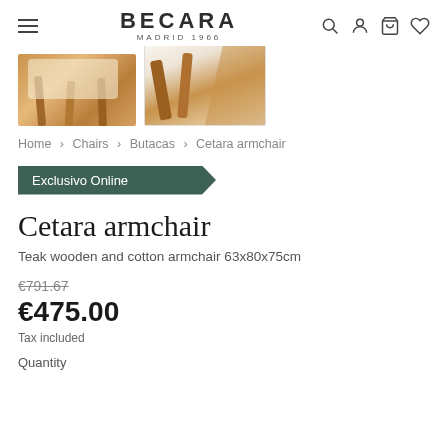BECARA MADRID 1966
[Figure (photo): Two product photos of the Cetara armchair showing teak wooden frame with cotton upholstery, partially cropped at top]
Home > Chairs > Butacas > Cetara armchair
Exclusivo Online
Cetara armchair
Teak wooden and cotton armchair 63x80x75cm
€791.67
€475.00
Tax included
Quantity